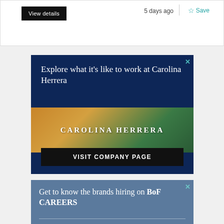View details
5 days ago
Save
[Figure (infographic): Carolina Herrera company advertisement with dark navy background. Headline: 'Explore what it's like to work at Carolina Herrera'. Center image shows a glamorous fashion scene with gold/amber and green tones with 'CAROLINA HERRERA' text overlay. Black CTA button: 'VISIT COMPANY PAGE'.]
[Figure (infographic): BoF Careers advertisement with steel blue background. Text reads 'Get to know the brands hiring on BoF CAREERS' with a horizontal divider line at bottom.]